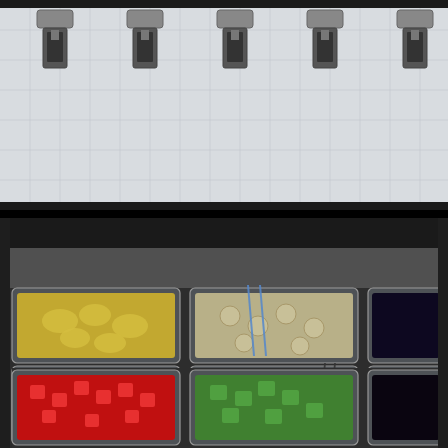[Figure (photo): Top-down view of a beverage dispensing machine with multiple stainless steel dispenser handles/levers arranged in a row on a light blue grid-patterned surface]
[Figure (photo): A food topping bar / frozen yogurt topping station showing multiple clear plastic containers arranged in a stainless steel tray. Containers hold various fruit toppings: pineapple chunks, banana slices, a dark fruit (blueberries/blackberries), red cherry/cranberry sauce, mango chunks, orange-colored topping, diced strawberries, diced kiwi, and dark berries. Each container has clear plastic serving tongs or spoons.]